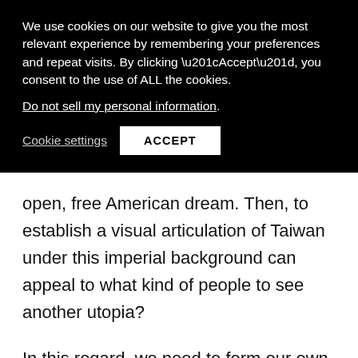We use cookies on our website to give you the most relevant experience by remembering your preferences and repeat visits. By clicking “Accept”, you consent to the use of ALL the cookies.
Do not sell my personal information.
Cookie settings   ACCEPT
open, free American dream. Then, to establish a visual articulation of Taiwan under this imperial background can appeal to what kind of people to see another utopia?
In this regard, we need to form our own visual articulation beyond the idea of western centrism as a colonisation and a representation of our voice.